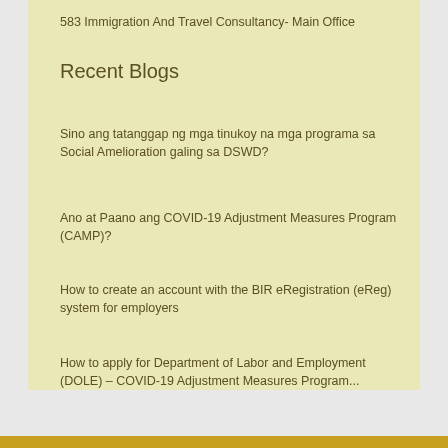583 Immigration And Travel Consultancy- Main Office
Recent Blogs
Sino ang tatanggap ng mga tinukoy na mga programa sa Social Amelioration galing sa DSWD?
Ano at Paano ang COVID-19 Adjustment Measures Program (CAMP)?
How to create an account with the BIR eRegistration (eReg) system for employers
How to apply for Department of Labor and Employment (DOLE) – COVID-19 Adjustment Measures Program...